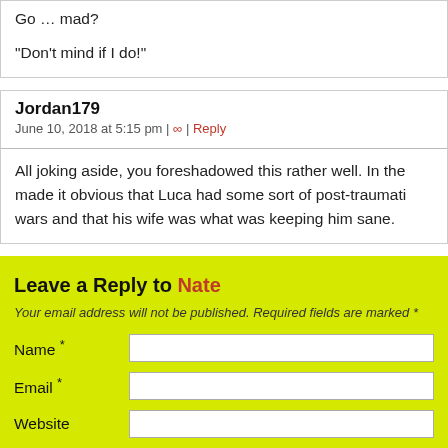Go … mad?

“Don’t mind if I do!”
Jordan179
June 10, 2018 at 5:15 pm | ∞ | Reply
All joking aside, you foreshadowed this rather well. In the made it obvious that Luca had some sort of post-traumati wars and that his wife was what was keeping him sane.
Leave a Reply to Nate
Your email address will not be published. Required fields are marked *
Name *
Email *
Website
Comment